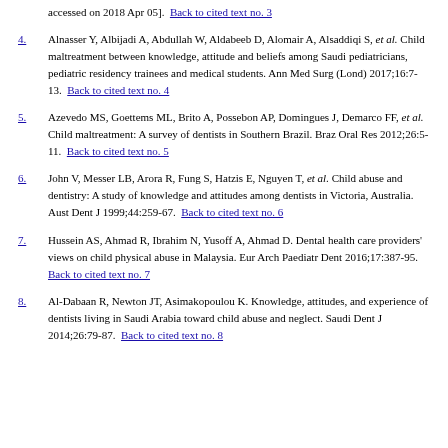accessed on 2018 Apr 05].  Back to cited text no. 3
4. Alnasser Y, Albijadi A, Abdullah W, Aldabeeb D, Alomair A, Alsaddiqi S, et al. Child maltreatment between knowledge, attitude and beliefs among Saudi pediatricians, pediatric residency trainees and medical students. Ann Med Surg (Lond) 2017;16:7-13.  Back to cited text no. 4
5. Azevedo MS, Goettems ML, Brito A, Possebon AP, Domingues J, Demarco FF, et al. Child maltreatment: A survey of dentists in Southern Brazil. Braz Oral Res 2012;26:5-11.  Back to cited text no. 5
6. John V, Messer LB, Arora R, Fung S, Hatzis E, Nguyen T, et al. Child abuse and dentistry: A study of knowledge and attitudes among dentists in Victoria, Australia. Aust Dent J 1999;44:259-67.  Back to cited text no. 6
7. Hussein AS, Ahmad R, Ibrahim N, Yusoff A, Ahmad D. Dental health care providers' views on child physical abuse in Malaysia. Eur Arch Paediatr Dent 2016;17:387-95.  Back to cited text no. 7
8. Al-Dabaan R, Newton JT, Asimakopoulou K. Knowledge, attitudes, and experience of dentists living in Saudi Arabia toward child abuse and neglect. Saudi Dent J 2014;26:79-87.  Back to cited text no. 8